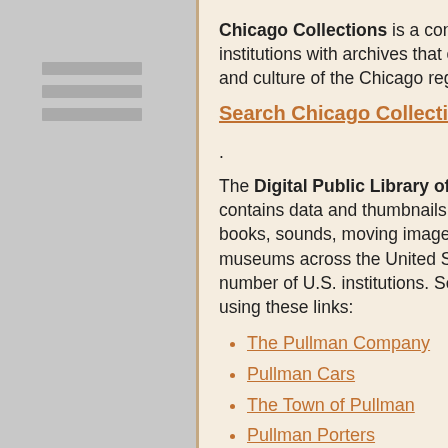[Figure (other): Hamburger menu icon with three horizontal grey bars]
Chicago Collections is a consortium of libraries, museums, and other institutions with archives that collaborate to preserve and share the history and culture of the Chicago region. Seach in their holdings for pullman.
Search Chicago Collections.
The Digital Public Library of America (DPLA) is a digital library that contains data and thumbnails for millions of photographs, manuscripts, books, sounds, moving images, and more from libraries, archives, and museums across the United States. Images are contributed by a large number of U.S. institutions. Search this vast collection of images and data using these links:
The Pullman Company
Pullman Cars
The Town of Pullman
Pullman Porters